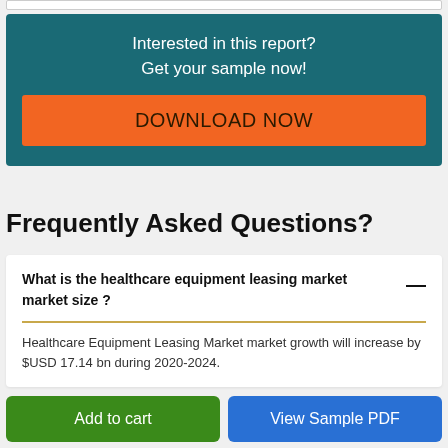Interested in this report? Get your sample now!
DOWNLOAD NOW
Frequently Asked Questions?
What is the healthcare equipment leasing market market size ?
Healthcare Equipment Leasing Market market growth will increase by $USD 17.14 bn during 2020-2024.
Add to cart
View Sample PDF